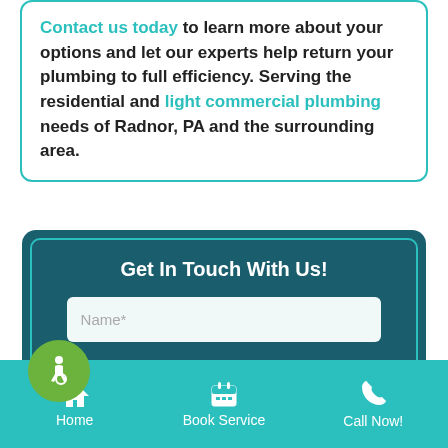Contact us today to learn more about your options and let our experts help return your plumbing to full efficiency. Serving the residential and light commercial plumbing needs of Radnor, PA and the surrounding area.
Get In Touch With Us!
Name*
[Figure (illustration): Accessibility icon — green circle with wheelchair user symbol]
Home | Book Service | Call Now!